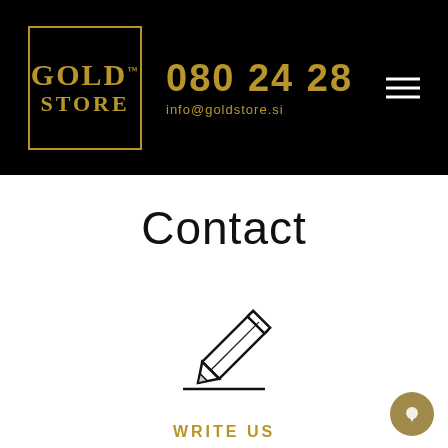[Figure (logo): Gold Store logo: gold bordered rectangle with 'GOLD TM STORE' text in gold on black background, next to phone number '080 24 28' and email 'info@goldstore.si' in gold, with white hamburger menu icon on right]
Contact
[Figure (illustration): Pencil icon outline drawing on a line, indicating a 'write us' contact form]
WRITE US